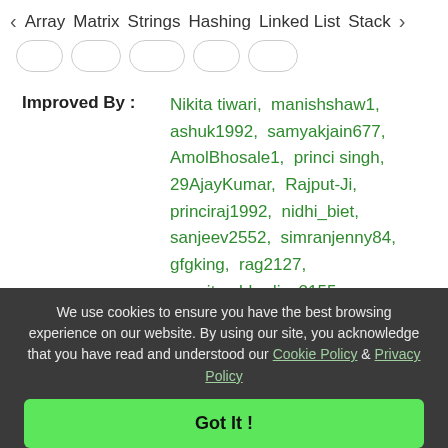< Array  Matrix  Strings  Hashing  Linked List  Stack >
Improved By : Nikita tiwari, manishshaw1, ashuk1992, samyakjain677, AmolBhosale1, princi singh, 29AjayKumar, Rajput-Ji, princiraj1992, nidhi_biet, sanjeev2552, simranjenny84, gfgking, rag2127, avanitrachhadiya2155, hardikkoriintern
Article Tags: Bitwise XOR, frequency counti...
We use cookies to ensure you have the best browsing experience on our website. By using our site, you acknowledge that you have read and understood our Cookie Policy & Privacy Policy
Got It !